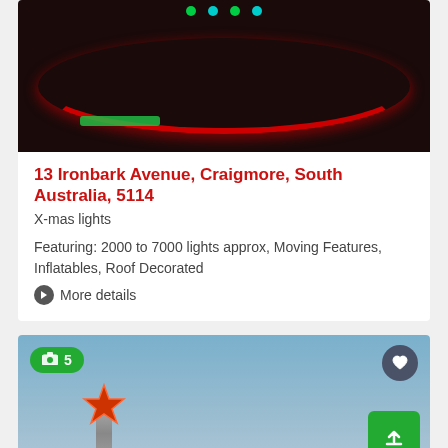[Figure (photo): Christmas lights display at night with red arc of lights against dark background, green decoration dots at top, green bar label at bottom left]
13 Ironbark Avenue, Craigmore, South Australia, 5114
X-mas lights
Featuring: 2000 to 7000 lights approx, Moving Features, Inflatables, Roof Decorated
More details
[Figure (photo): Christmas star decoration on top of a pole against a blue sky background, with photo count badge '5' in green on upper left and a heart button and green upload button on the right]